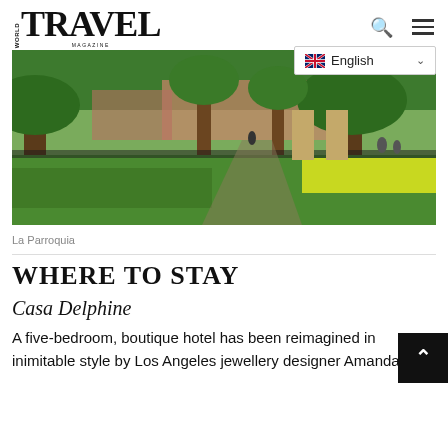WORLD TRAVEL MAGAZINE
[Figure (photo): Outdoor park scene with large trees, green and yellow hedged shrubs, iron fencing, and people in the background — La Parroquia]
La Parroquia
WHERE TO STAY
Casa Delphine
A five-bedroom, boutique hotel has been reimagined in inimitable style by Los Angeles jewellery designer Amanda